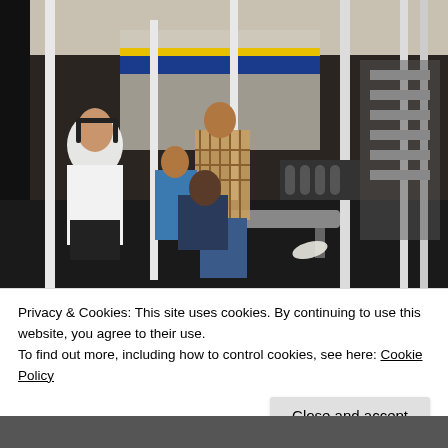[Figure (photo): Interior of a gym/fitness center with people working out. Several people visible including a person in a white shirt seated at a weight machine in the foreground, a person in a plaid shirt standing, another in blue, and others in the background. White metal exercise equipment frames, dumbbell racks, and mirrors are visible.]
Privacy & Cookies: This site uses cookies. By continuing to use this website, you agree to their use.
To find out more, including how to control cookies, see here: Cookie Policy
Close and accept